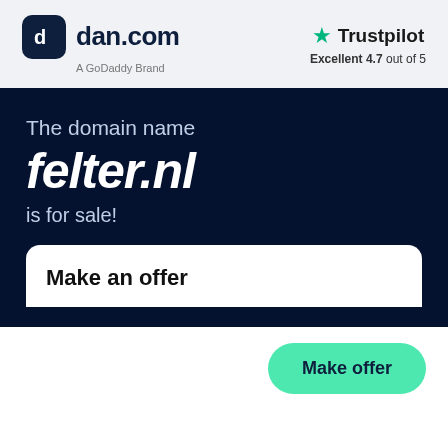[Figure (logo): dan.com logo with dark rounded square icon and text 'dan.com', subtitle 'A GoDaddy Brand']
[Figure (logo): Trustpilot logo with green star, 'Trustpilot' text, and rating 'Excellent 4.7 out of 5']
The domain name
felter.nl
is for sale!
Make an offer
Make offer